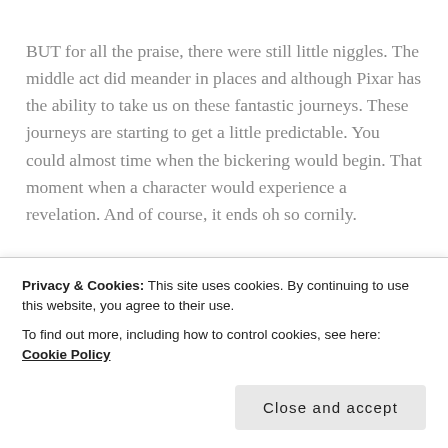BUT for all the praise, there were still little niggles. The middle act did meander in places and although Pixar has the ability to take us on these fantastic journeys. These journeys are starting to get a little predictable. You could almost time when the bickering would begin. That moment when a character would experience a revelation. And of course, it ends oh so cornily.

I loved Richard Kind as the fluffy and affable imaginary friend Bing Bong who helped Joy and Sadness on their quest. And also… could anyone else believe that Flea…
Privacy & Cookies: This site uses cookies. By continuing to use this website, you agree to their use.
To find out more, including how to control cookies, see here: Cookie Policy
Close and accept
certainly offered an insight into all sorts of people and